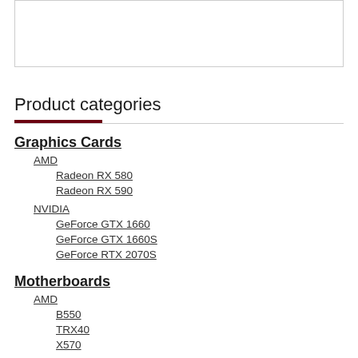[Figure (other): Empty bordered box at top of page]
Product categories
Graphics Cards
AMD
Radeon RX 580
Radeon RX 590
NVIDIA
GeForce GTX 1660
GeForce GTX 1660S
GeForce RTX 2070S
Motherboards
AMD
B550
TRX40
X570